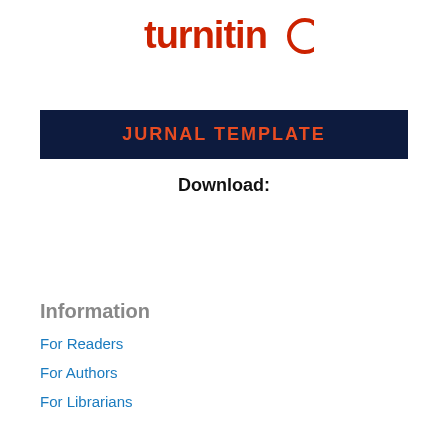[Figure (logo): Turnitin logo with red text and circular arrow icon]
JURNAL TEMPLATE
Download:
Information
For Readers
For Authors
For Librarians